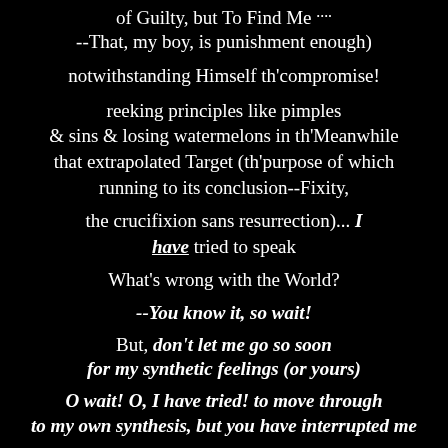of Guilty, but To Find Me .... --That, my boy, is punishment enough)
notwithstanding Himself th'compromise!
reeking principles like pimples & sins & losing watermelons in th'Meanwhile that extrapolated Target (th'purpose of which running to its conclusion--Fixity,
the crucifixion sans resurrection)... I have tried to speak
What's wrong with the World?
--You know it, so wait!
But, don't let me go so soon for my synthetic feelings (or yours)
O wait! O, I have tried! to move through to my own synthesis, but you have interrupted me